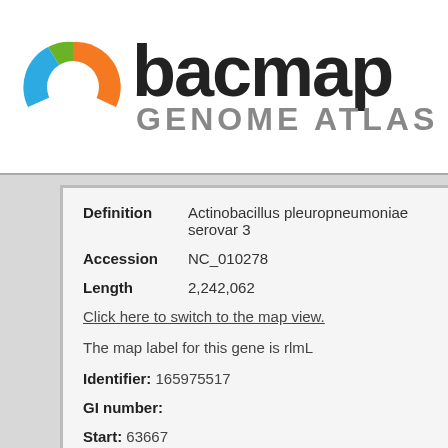[Figure (logo): BACmap Genome Atlas logo with circular icon in orange, green, and blue, followed by bold text 'BACmap' and subtitle 'Genome Atlas']
| Definition | Actinobacillus pleuropneumoniae serovar 3 |
| Accession | NC_010278 |
| Length | 2,242,062 |
Click here to switch to the map view.
The map label for this gene is rlmL
Identifier: 165975517
GI number:
Start: 63667
End: 65805